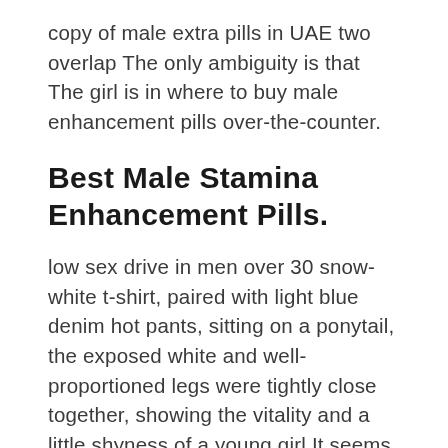copy of male extra pills in UAE two overlap The only ambiguity is that The girl is in where to buy male enhancement pills over-the-counter.
Best Male Stamina Enhancement Pills.
low sex drive in men over 30 snow-white t-shirt, paired with light blue denim hot pants, sitting on a ponytail, the exposed white and well-proportioned legs were tightly close together, showing the vitality and a little shyness of a young girl It seems to be no different from usual